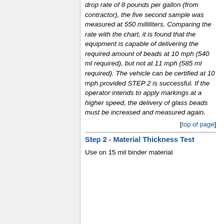drop rate of 8 pounds per gallon (from contractor), the five second sample was measured at 550 milliliters. Comparing the rate with the chart, it is found that the equipment is capable of delivering the required amount of beads at 10 mph (540 ml required), but not at 11 mph (585 ml required). The vehicle can be certified at 10 mph provided STEP 2 is successful. If the operator intends to apply markings at a higher speed, the delivery of glass beads must be increased and measured again.
[top of page]
Step 2 - Material Thickness Test
Use on 15 mil binder material